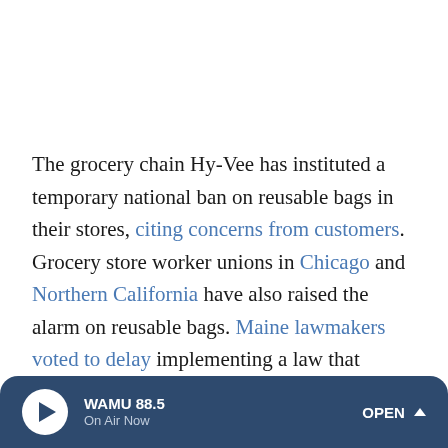The grocery chain Hy-Vee has instituted a temporary national ban on reusable bags in their stores, citing concerns from customers. Grocery store worker unions in Chicago and Northern California have also raised the alarm on reusable bags. Maine lawmakers voted to delay implementing a law that would have banned plastic bags altogether, until next year because of concerns that cloth bags could pose risks to workers.
Low oil prices have made plastic products, which are made
WAMU 88.5 On Air Now OPEN